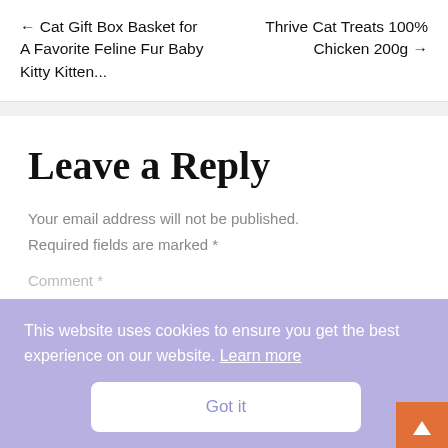← Cat Gift Box Basket for A Favorite Feline Fur Baby Kitty Kitten...
Thrive Cat Treats 100% Chicken 200g →
Leave a Reply
Your email address will not be published. Required fields are marked *
Comment *
This website uses cookies to ensure you get the best experience on our website. Learn more
Got it